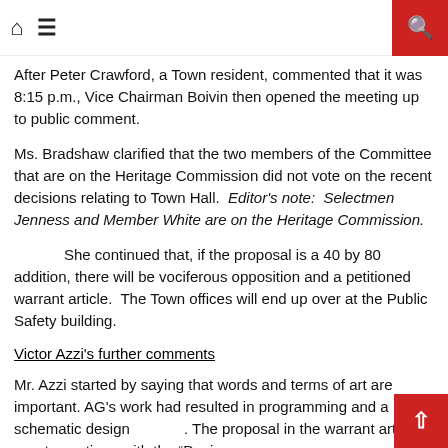🏠 ☰ 🔍
After Peter Crawford, a Town resident, commented that it was 8:15 p.m., Vice Chairman Boivin then opened the meeting up to public comment.
Ms. Bradshaw clarified that the two members of the Committee that are on the Heritage Commission did not vote on the recent decisions relating to Town Hall.  Editor's note:  Selectmen Jenness and Member White are on the Heritage Commission.
She continued that, if the proposal is a 40 by 80 addition, there will be vociferous opposition and a petitioned warrant article.  The Town offices will end up over at the Public Safety building.
Victor Azzi's further comments
Mr. Azzi started by saying that words and terms of art are important. AG's work had resulted in programming and a schematic design. The proposal in the warrant article was to continue with the "Design Development" phase. The current architect to the Committee said the